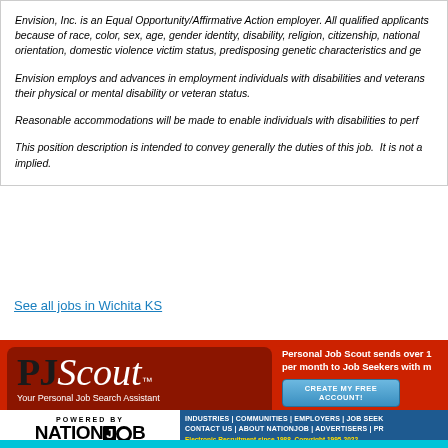Envision, Inc. is an Equal Opportunity/Affirmative Action employer. All qualified applicants because of race, color, sex, age, gender identity, disability, religion, citizenship, national orientation, domestic violence victim status, predisposing genetic characteristics and ge
Envision employs and advances in employment individuals with disabilities and veterans their physical or mental disability or veteran status.
Reasonable accommodations will be made to enable individuals with disabilities to perf
This position description is intended to convey generally the duties of this job. It is not a implied.
See all jobs in Wichita KS
[Figure (screenshot): PJScout logo banner with red background, showing PJ Scout branding and 'Your Personal Job Search Assistant' tagline, alongside a 'CREATE MY FREE ACCOUNT!' button and 'Personal Job Scout sends over 1 per month to Job Seekers with m' text, plus About P and Privacy links]
[Figure (logo): NationJob logo with 'POWERED BY' text and 'NATION JOB' branding, alongside navigation links: INDUSTRIES, COMMUNITIES, EMPLOYERS, JOB SEEK, CONTACT US, ABOUT NATIONJOB, ADVERTISERS, PR, and 'Electronic Recruitment since 1988. Copyright 1995-2022']